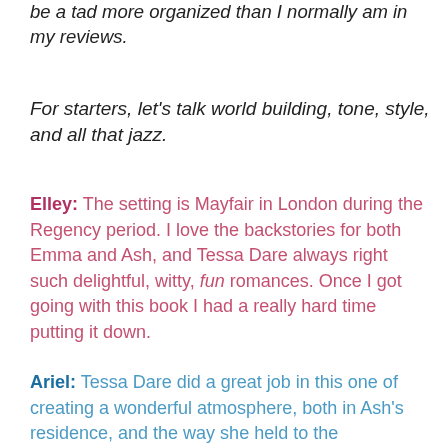be a tad more organized than I normally am in my reviews.
For starters, let's talk world building, tone, style, and all that jazz.
Elley: The setting is Mayfair in London during the Regency period. I love the backstories for both Emma and Ash, and Tessa Dare always right such delightful, witty, fun romances. Once I got going with this book I had a really hard time putting it down.
Ariel: Tessa Dare did a great job in this one of creating a wonderful atmosphere, both in Ash's residence, and the way she held to the...